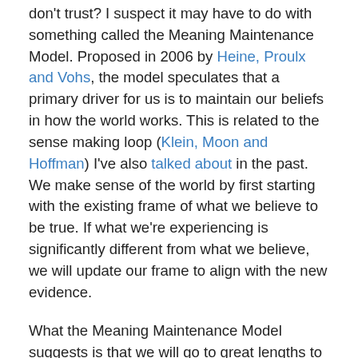don't trust? I suspect it may have to do with something called the Meaning Maintenance Model. Proposed in 2006 by Heine, Proulx and Vohs, the model speculates that a primary driver for us is to maintain our beliefs in how the world works. This is related to the sense making loop (Klein, Moon and Hoffman) I've also talked about in the past. We make sense of the world by first starting with the existing frame of what we believe to be true. If what we're experiencing is significantly different from what we believe, we will update our frame to align with the new evidence.
What the Meaning Maintenance Model suggests is that we will go to great lengths to avoid updating our frame. It's much easier just to find supposed evidence that supports our current beliefs. So, if our intent is to get news that supports our existing world view, social media is the perfect source. It's algorithmically filtered to match our